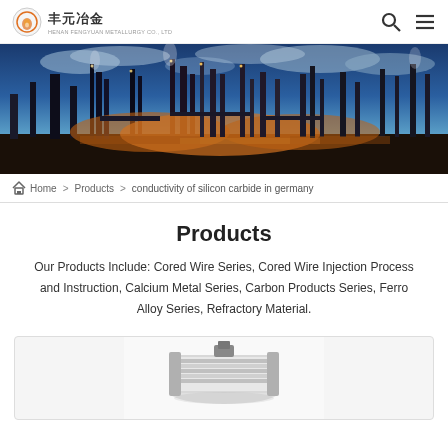丰元冶金 (Fengyuan Metallurgy)
[Figure (photo): Industrial refinery at night with illuminated towers and blue sky with clouds]
Home > Products > conductivity of silicon carbide in germany
Products
Our Products Include: Cored Wire Series, Cored Wire Injection Process and Instruction, Calcium Metal Series, Carbon Products Series, Ferro Alloy Series, Refractory Material.
[Figure (photo): Partial view of a rolled coil or spool product on a white background inside a product card]